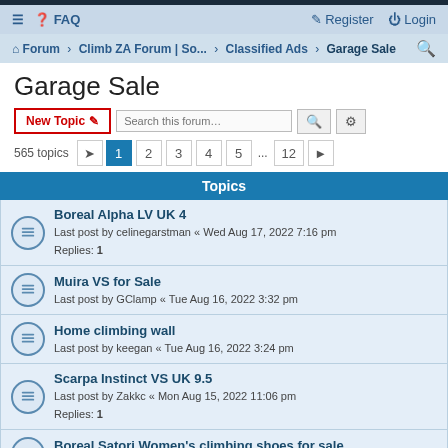≡  FAQ    Register  Login
Forum › Climb ZA Forum | So... › Classified Ads › Garage Sale
Garage Sale
New Topic   Search this forum…   565 topics  1 2 3 4 5 … 12
Topics
Boreal Alpha LV UK 4
Last post by celinegarstman « Wed Aug 17, 2022 7:16 pm
Replies: 1
Muira VS for Sale
Last post by GClamp « Tue Aug 16, 2022 3:32 pm
Home climbing wall
Last post by keegan « Tue Aug 16, 2022 3:24 pm
Scarpa Instinct VS UK 9.5
Last post by Zakkc « Mon Aug 15, 2022 11:06 pm
Replies: 1
Boreal Satori Women's climbing shoes for sale
Last post by IvanaClimbalot « Sat Aug 13, 2022 8:16 pm